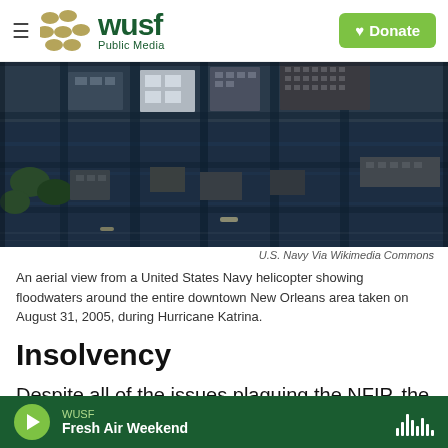WUSF Public Media — Donate
[Figure (photo): Aerial view of flooded downtown New Orleans during Hurricane Katrina, August 31, 2005. Dark floodwaters surround city blocks with buildings visible from above.]
U.S. Navy Via Wikimedia Commons
An aerial view from a United States Navy helicopter showing floodwaters around the entire downtown New Orleans area taken on August 31, 2005, during Hurricane Katrina.
Insolvency
Despite all of the issues plaguing the NFIP, the program was pretty much able to sustain itself for
WUSF — Fresh Air Weekend